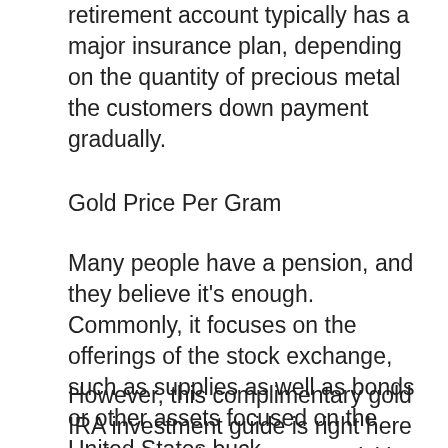retirement account typically has a major insurance plan, depending on the quantity of precious metal the customers down payment gradually.
Gold Price Per Gram
Many people have a pension, and they believe it’s enough. Commonly, it focuses on the offerings of the stock exchange, such as supplies as well as bonds or other assets focused on the United States buck.
However, this complimentary gold IRA investment guide is right here to show you how you can quickly convert some of that to bullion coins as well as gold bars. Doing this might protect your financial investment from